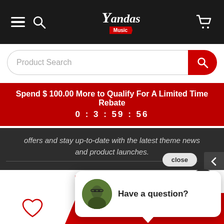[Figure (screenshot): Yandas Music website screenshot showing navigation bar with hamburger menu, search icon, Yandas Music logo, and cart icon on dark background]
Product Search
Spend $100.00 More to Qualify For A Limited Time Rebate
0 : 3 : 59 : 56
offers and stay up-to-date with the latest theme news and product launches.
close
Have a question?
136  Visitor Right Now
+ Add To Cart